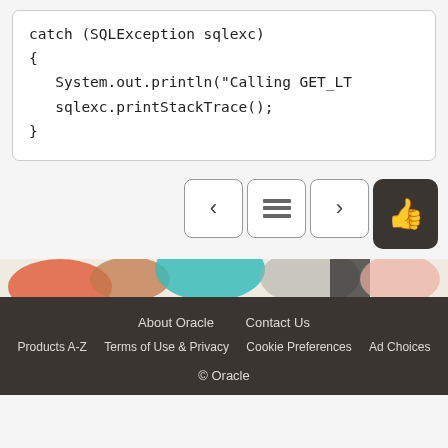catch (SQLException sqlexc)
{
    System.out.println("Calling GET_LT
    sqlexc.printStackTrace();
}
[Figure (screenshot): Navigation buttons: left arrow, table-of-contents, right arrow, and thumbs-up button]
[Figure (illustration): Colorful decorative strip with abstract colored shapes]
About Oracle   Contact Us
Products A-Z   Terms of Use & Privacy   Cookie Preferences   Ad Choices
© Oracle